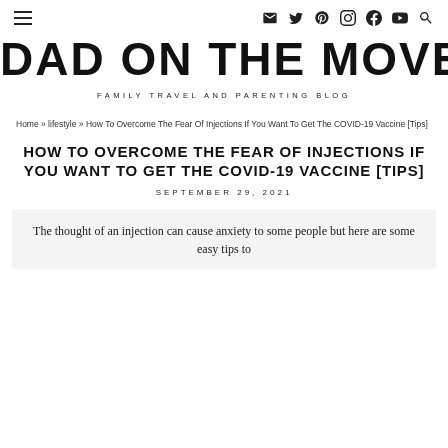Navigation bar with hamburger menu, email, twitter, pinterest, instagram, facebook, youtube, search icons
DAD ON THE MOVE
FAMILY TRAVEL AND PARENTING BLOG
Home » lifestyle » How To Overcome The Fear Of Injections If You Want To Get The COVID-19 Vaccine [Tips]
HOW TO OVERCOME THE FEAR OF INJECTIONS IF YOU WANT TO GET THE COVID-19 VACCINE [TIPS]
SEPTEMBER 29, 2021
The thought of an injection can cause anxiety to some people but here are some easy tips to